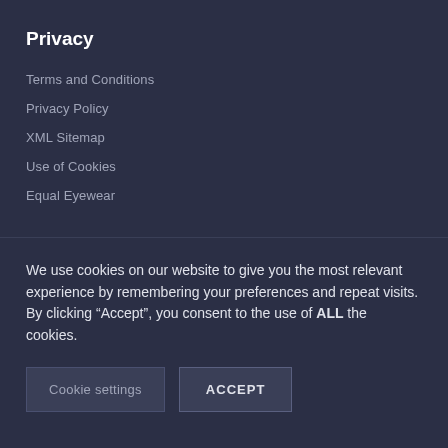Privacy
Terms and Conditions
Privacy Policy
XML Sitemap
Use of Cookies
Equal Eyewear
We use cookies on our website to give you the most relevant experience by remembering your preferences and repeat visits. By clicking “Accept”, you consent to the use of ALL the cookies.
Cookie settings | ACCEPT